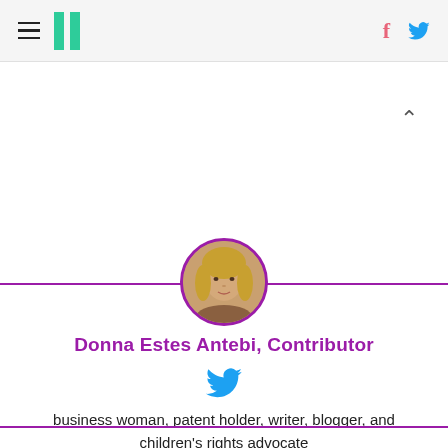HuffPost navigation with hamburger menu, logo, Facebook and Twitter icons
[Figure (photo): Circular profile photo of Donna Estes Antebi, a blonde woman, with purple border, centered on a horizontal purple divider line]
Donna Estes Antebi, Contributor
[Figure (logo): Twitter bird icon in blue]
business woman, patent holder, writer, blogger, and children's rights advocate